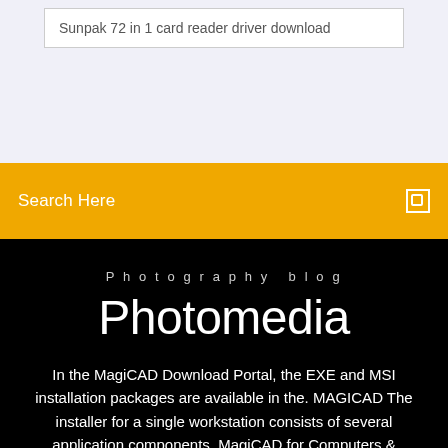Sunpak 72 in 1 card reader driver download
Search Here
Photography blog
Photomedia
In the MagiCAD Download Portal, the EXE and MSI installation packages are available in the. MAGICAD The installer for a single workstation consists of several application components. MagiCAD for Computers & workstations